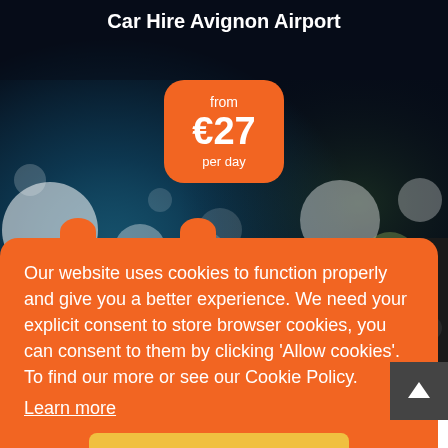[Figure (photo): Dark bokeh background photo showing blurred lights through rain-covered glass, dark blue/teal tones]
Car Hire Avignon Airport
from €27 per day
Our website uses cookies to function properly and give you a better experience. We need your explicit consent to store browser cookies, you can consent to them by clicking 'Allow cookies'. To find our more or see our Cookie Policy.
Learn more
Allow Cookies
FAQ